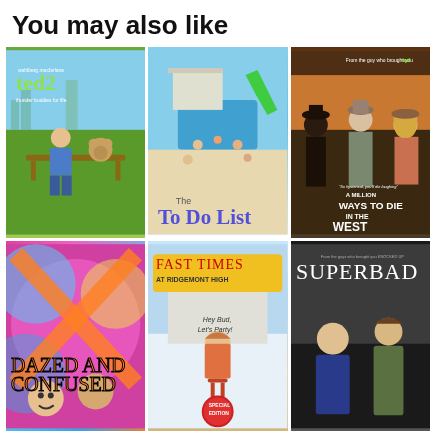You may also like
[Figure (photo): Movie poster for Ted 2 - wahlberg macfarlane ted2 thunder buddies for life, shows man and teddy bear on a park bench]
[Figure (photo): Movie poster for The To Do List - animated pool party scene with text 'The To Do List']
[Figure (photo): Movie poster for A Million Ways to Die in the West - three actors in western setting, tagline 'So hysterical, you'll die laughing']
[Figure (photo): Movie poster for Dazed and Confused - colorful psychedelic design with teens]
[Figure (photo): Movie poster for Fast Times at Ridgemont High - Hey Bud, Let's Party! Special Edition]
[Figure (photo): Movie poster for Superbad - two young men standing, dark background]